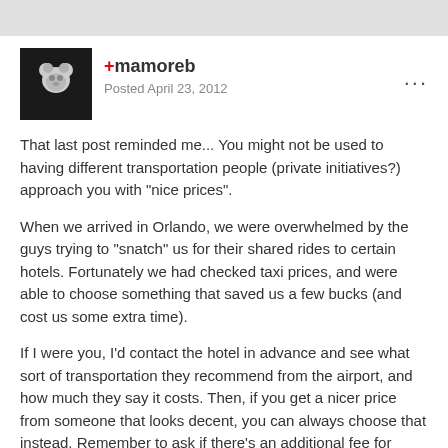+mamoreb
Posted April 23, 2012
That last post reminded me... You might not be used to having different transportation people (private initiatives?) approach you with "nice prices".
When we arrived in Orlando, we were overwhelmed by the guys trying to "snatch" us for their shared rides to certain hotels. Fortunately we had checked taxi prices, and were able to choose something that saved us a few bucks (and cost us some extra time).
If I were you, I'd contact the hotel in advance and see what sort of transportation they recommend from the airport, and how much they say it costs. Then, if you get a nicer price from someone that looks decent, you can always choose that instead. Remember to ask if there's an additional fee for luggage handling. 😉
Quote